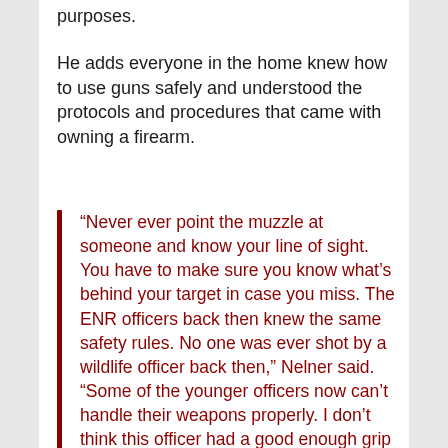purposes.
He adds everyone in the home knew how to use guns safely and understood the protocols and procedures that came with owning a firearm.
“Never ever point the muzzle at someone and know your line of sight. You have to make sure you know what’s behind your target in case you miss. The ENR officers back then knew the same safety rules. No one was ever shot by a wildlife officer back then,” Nelner said. “Some of the younger officers now can’t handle their weapons properly. I don’t think this officer had a good enough grip